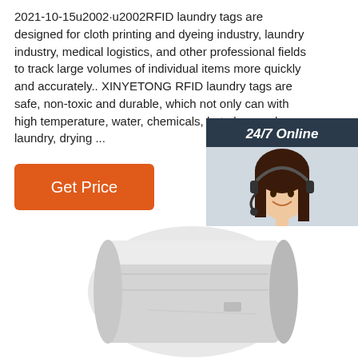2021-10-15u2002·u2002RFID laundry tags are designed for cloth printing and dyeing industry, laundry industry, medical logistics, and other professional fields to track large volumes of individual items more quickly and accurately.. XINYETONG RFID laundry tags are safe, non-toxic and durable, which not only can with high temperature, water, chemicals, but also can be laundry, drying ...
[Figure (other): Customer support chat widget with '24/7 Online' header, photo of woman with headset, 'Click here for free chat!' text and orange QUOTATION button]
[Figure (other): Orange TOP logo with dot pattern in top-right area]
[Figure (photo): Product photo of rolled white RFID laundry tags/labels on a roller]
Get Price